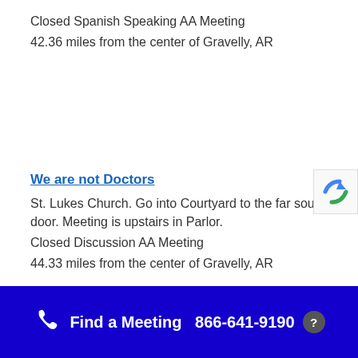Closed Spanish Speaking AA Meeting
42.36 miles from the center of Gravelly, AR
We are not Doctors
St. Lukes Church. Go into Courtyard to the far south door. Meeting is upstairs in Parlor.
Closed Discussion AA Meeting
44.33 miles from the center of Gravelly, AR
Last House on the Block
Find a Meeting   866-641-9190